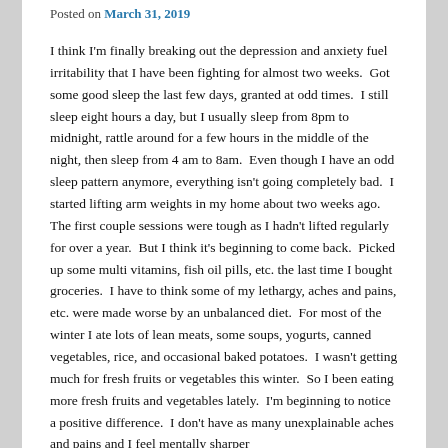Posted on March 31, 2019
I think I'm finally breaking out the depression and anxiety fuel irritability that I have been fighting for almost two weeks.  Got some good sleep the last few days, granted at odd times.  I still sleep eight hours a day, but I usually sleep from 8pm to midnight, rattle around for a few hours in the middle of the night, then sleep from 4 am to 8am.  Even though I have an odd sleep pattern anymore, everything isn't going completely bad.  I started lifting arm weights in my home about two weeks ago.  The first couple sessions were tough as I hadn't lifted regularly for over a year.  But I think it's beginning to come back.  Picked up some multi vitamins, fish oil pills, etc. the last time I bought groceries.  I have to think some of my lethargy, aches and pains, etc. were made worse by an unbalanced diet.  For most of the winter I ate lots of lean meats, some soups, yogurts, canned vegetables, rice, and occasional baked potatoes.  I wasn't getting much for fresh fruits or vegetables this winter.  So I been eating more fresh fruits and vegetables lately.  I'm beginning to notice a positive difference.  I don't have as many unexplainable aches and pains and I feel mentally sharper